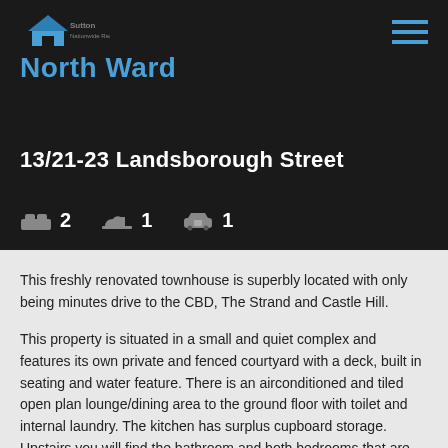[Figure (logo): Sutton Nationwide Realty logo with house icon]
North Ward
13/21-23 Landsborough Street
2 bedrooms, 1 bathroom, 1 car space
This freshly renovated townhouse is superbly located with only being minutes drive to the CBD, The Strand and Castle Hill.
This property is situated in a small and quiet complex and features its own private and fenced courtyard with a deck, built in seating and water feature. There is an airconditioned and tiled open plan lounge/dining area to the ground floor with toilet and internal laundry. The kitchen has surplus cupboard storage. Upstairs you will find the bathroom and both bedrooms that are tiled, airconditioned and have built in wardrobes. To make your life that little bit more relaxing